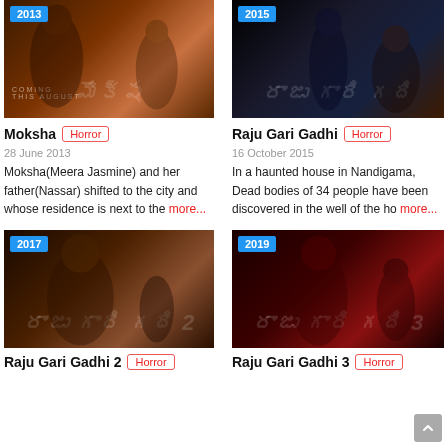[Figure (photo): Movie poster for Moksha (2013), dark horror themed poster with actress]
[Figure (photo): Movie poster for Raju Gari Gadhi (2015), dark supernatural horror themed poster]
Moksha Horror
Raju Gari Gadhi Horror
28 June 2013
16 October 2015
Moksha(Meera Jasmine) and her father(Nassar) shifted to the city and whose residence is next to the more...
In a haunted house in Nandigama, Dead bodies of 34 people have been discovered in the well of the ho more...
[Figure (photo): Movie poster for Raju Gari Gadhi 2 (2017), horror movie poster with actor]
[Figure (photo): Movie poster for Raju Gari Gadhi 3 (2019), horror movie poster with actor in red shirt]
Raju Gari Gadhi 2 Horror
Raju Gari Gadhi 3 Horror